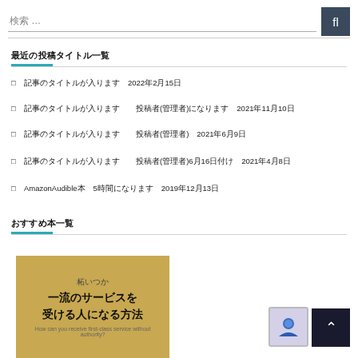検索 …
最近の投稿タイトル
記事のタイトルが入ります 2022年2月15日
記事のタイトルが入ります 投稿者(管理者)になります 2021年11月10日
記事のタイトルが入ります 投稿者(管理者) 2021年6月9日
記事のタイトルが入ります 投稿者(管理者)6月16日付け 2021年4月8日
AmazonAudible本 5時間になります 2019年12月13日
おすすめ本一覧
[Figure (photo): Book cover: 柘いつか 一流のサービスを受ける人になる方法 on a tan/gold background]